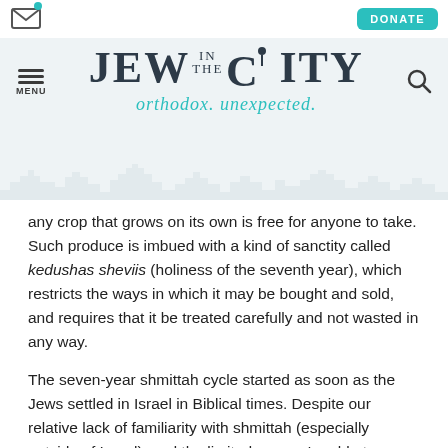[Figure (logo): Jew in the City website logo with tagline 'orthodox. unexpected.' in teal cursive, on a light blue-grey header with city skyline silhouette]
any crop that grows on its own is free for anyone to take. Such produce is imbued with a kind of sanctity called kedushas sheviis (holiness of the seventh year), which restricts the ways in which it may be bought and sold, and requires that it be treated carefully and not wasted in any way.
The seven-year shmittah cycle started as soon as the Jews settled in Israel in Biblical times. Despite our relative lack of familiarity with shmittah (especially outside of Israel), and the limited way we're able to observe it (even in Israel), shmittah is actually an extremely important mitzvah. In fact, the first exile was